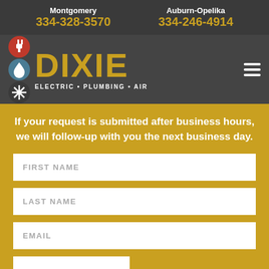Montgomery 334-328-3570 | Auburn-Opelika 334-246-4914
[Figure (logo): Dixie Electric Plumbing Air logo with plug, water drop, and snowflake icons]
If your request is submitted after business hours, we will follow-up with you the next business day.
FIRST NAME
LAST NAME
EMAIL